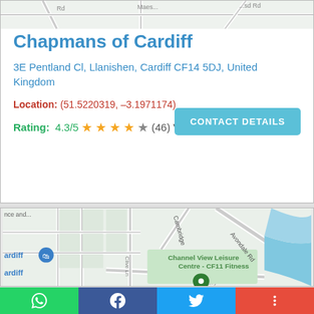[Figure (map): Partial street map visible at top strip of listing card]
Chapmans of Cardiff
3E Pentland Cl, Llanishen, Cardiff CF14 5DJ, United Kingdom
Location: (51.5220319, -3.1971174)
Rating: 4.3/5 ★★★★☆ (46) Votes
[Figure (map): Google Maps screenshot showing Channel View Leisure Centre - CF11 Fitness area, Ferry Rd, Avondale Rd, Cambridge street, with green location pin and blue river/water area]